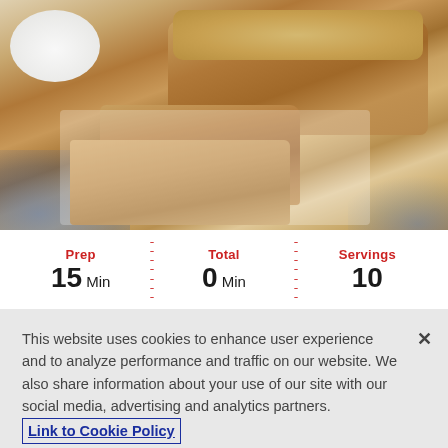[Figure (photo): A sliced loaf of streusel-topped quick bread on a white tray with a blue patterned cloth and a white bowl in the background]
Prep 15 Min | Total 0 Min | Servings 10
This website uses cookies to enhance user experience and to analyze performance and traffic on our website. We also share information about your use of our site with our social media, advertising and analytics partners. Link to Cookie Policy